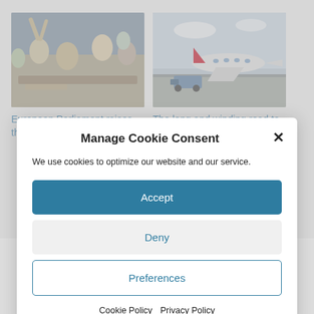[Figure (photo): Photo of people at an event, hands raised]
European Parliament raises the bar of SAF
[Figure (photo): Photo of an airplane on the tarmac]
The long and winding road to SAF
Manage Cookie Consent
We use cookies to optimize our website and our service.
Accept
Deny
Preferences
Cookie Policy  Privacy Policy